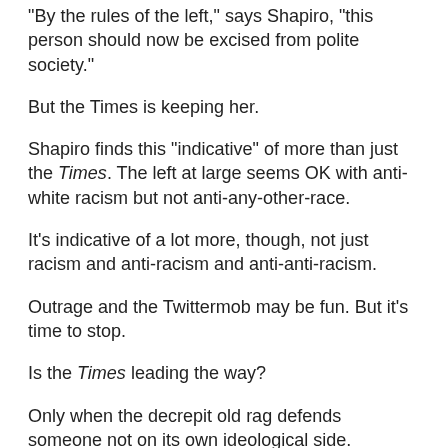'By the rules of the left,' says Shapiro, 'this person should now be excised from polite society.'
But the Times is keeping her.
Shapiro finds this “indicative” of more than just the Times. The left at large seems OK with anti-white racism but not anti-any-other-race.
It's indicative of a lot more, though, not just racism and anti-racism and anti-anti-racism.
Outrage and the Twittermob may be fun. But it's time to stop.
Is the Times leading the way?
Only when the decrepit old rag defends someone not on its own ideological side. Transcending partisan mob mania means first transcending partisanship.
This is Common Sense. I'm Paul Jacob.
-------------------